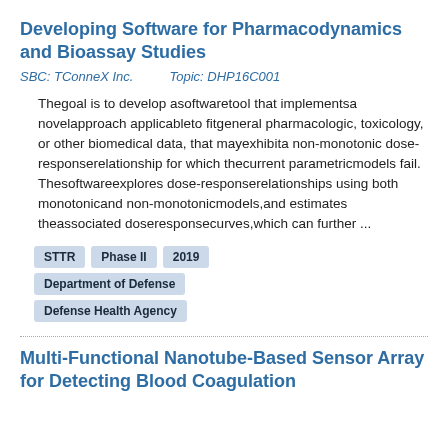Developing Software for Pharmacodynamics and Bioassay Studies
SBC: TConneX Inc.        Topic: DHP16C001
Thegoal is to develop asoftwaretool that implementsa novelapproach applicableto fitgeneral pharmacologic, toxicology, or other biomedical data, that mayexhibita non-monotonic dose-responserelationship for which thecurrent parametricmodels fail. Thesoftwareexplores dose-responserelationships using both monotonicand non-monotonicmodels,and estimates theassociated doseresponsecurves,which can further ...
STTR
Phase II
2019
Department of Defense
Defense Health Agency
Multi-Functional Nanotube-Based Sensor Array for Detecting Blood Coagulation